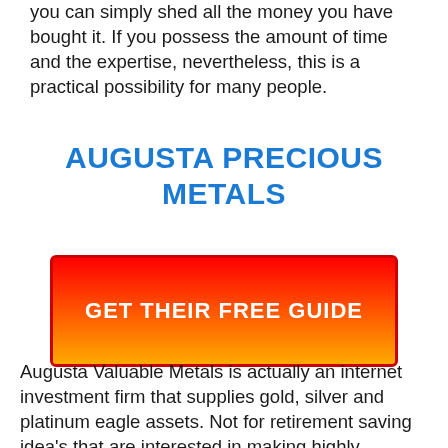you can simply shed all the money you have bought it. If you possess the amount of time and the expertise, nevertheless, this is a practical possibility for many people.
AUGUSTA PRECIOUS METALS
[Figure (other): Red to orange/gold gradient button with bold white text reading GET THEIR FREE GUIDE]
Augusta Valuable Metals is actually an internet investment firm that supplies gold, silver and platinum eagle assets. Not for retirement saving idea’s that are interested in making highly profitable gold and silver